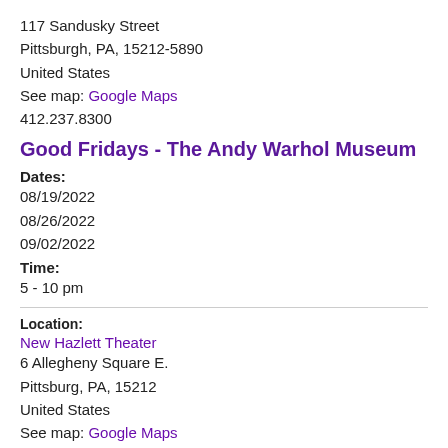117 Sandusky Street
Pittsburgh, PA, 15212-5890
United States
See map: Google Maps
412.237.8300
Good Fridays - The Andy Warhol Museum
Dates:
08/19/2022
08/26/2022
09/02/2022
Time:
5 - 10 pm
Location:
New Hazlett Theater
6 Allegheny Square E.
Pittsburg, PA, 15212
United States
See map: Google Maps
(412) 551-4027
Grand Hotel The Musical at New Hazlett